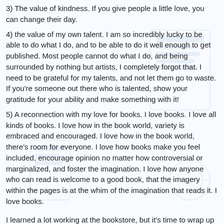3) The value of kindness. If you give people a little love, you can change their day.
4) the value of my own talent. I am so incredibly lucky to be able to do what I do, and to be able to do it well enough to get published. Most people cannot do what I do, and being surrounded by nothing but artists, I completely forgot that. I need to be grateful for my talents, and not let them go to waste. If you're someone out there who is talented, show your gratitude for your ability and make something with it!
5) A reconnection with my love for books. I love books. I love all kinds of books. I love how in the book world, variety is embraced and encouraged. I love how in the book world, there's room for everyone. I love how books make you feel included, encourage opinion no matter how controversial or marginalized, and foster the imagination. I love how anyone who can read is welcome to a good book, that the imagery within the pages is at the whim of the imagination that reads it. I love books.
I learned a lot working at the bookstore, but it's time to wrap up this novel. It's been almost a year now...